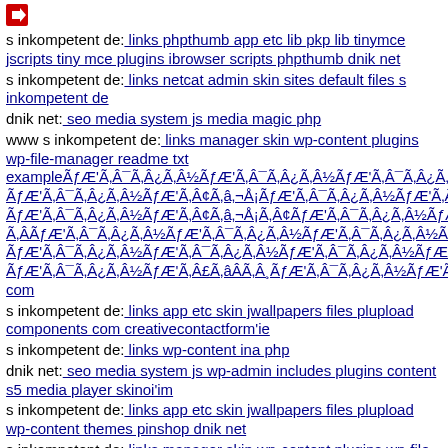[Figure (other): Red right-arrow icon]
s inkompetent de: links phpthumb app etc lib pkp lib tinymce jscripts tiny mce plugins ibrowser scripts phpthumb dnik net
s inkompetent de: links netcat admin skin sites default files s inkompetent de
dnik net: seo media system js media magic php
www s inkompetent de: links manager skin wp-content plugins wp-file-manager readme txt exampleÃƒÂ¯Ã‚Â¿Ã‚Â½ ... (long encoded string)
s inkompetent de: links app etc skin jwallpapers files plupload components com creativecontactform'ie
s inkompetent de: links wp-content ina php
dnik net: seo media system js wp-admin includes plugins content s5 media player skinoi'im
s inkompetent de: links app etc skin jwallpapers files plupload wp-content themes pinshop dnik net
s inkompetent de: links manager skin wp-content plugins wp-file-...